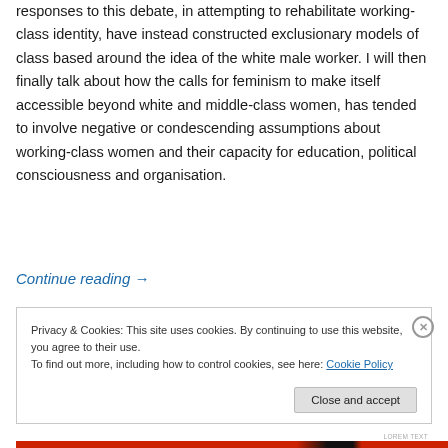responses to this debate, in attempting to rehabilitate working-class identity, have instead constructed exclusionary models of class based around the idea of the white male worker. I will then finally talk about how the calls for feminism to make itself accessible beyond white and middle-class women, has tended to involve negative or condescending assumptions about working-class women and their capacity for education, political consciousness and organisation.
Continue reading →
Privacy & Cookies: This site uses cookies. By continuing to use this website, you agree to their use.
To find out more, including how to control cookies, see here: Cookie Policy
Close and accept